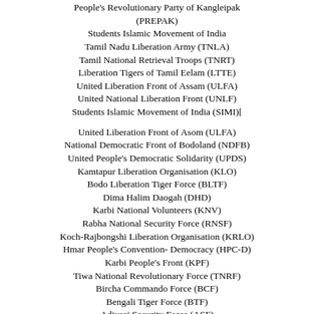People's Revolutionary Party of Kangleipak (PREPAK)
Students Islamic Movement of India
Tamil Nadu Liberation Army (TNLA)
Tamil National Retrieval Troops (TNRT)
Liberation Tigers of Tamil Eelam (LTTE)
United Liberation Front of Assam (ULFA)
United National Liberation Front (UNLF)
Students Islamic Movement of India (SIMI)[
United Liberation Front of Asom (ULFA)
National Democratic Front of Bodoland (NDFB)
United People's Democratic Solidarity (UPDS)
Kamtapur Liberation Organisation (KLO)
Bodo Liberation Tiger Force (BLTF)
Dima Halim Daogah (DHD)
Karbi National Volunteers (KNV)
Rabha National Security Force (RNSF)
Koch-Rajbongshi Liberation Organisation (KRLO)
Hmar People's Convention- Democracy (HPC-D)
Karbi People's Front (KPF)
Tiwa National Revolutionary Force (TNRF)
Bircha Commando Force (BCF)
Bengali Tiger Force (BTF)
Adivasi Security Force (ASF)